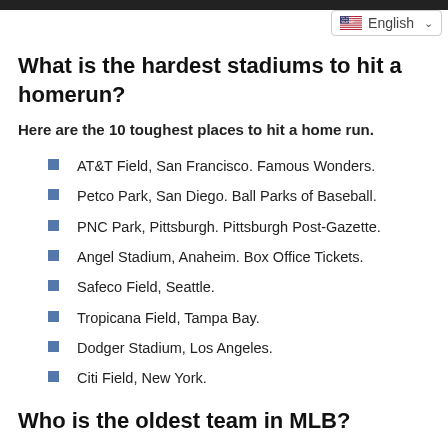English
What is the hardest stadiums to hit a homerun?
Here are the 10 toughest places to hit a home run.
AT&T Field, San Francisco. Famous Wonders.
Petco Park, San Diego. Ball Parks of Baseball.
PNC Park, Pittsburgh. Pittsburgh Post-Gazette.
Angel Stadium, Anaheim. Box Office Tickets.
Safeco Field, Seattle.
Tropicana Field, Tampa Bay.
Dodger Stadium, Los Angeles.
Citi Field, New York.
Who is the oldest team in MLB?